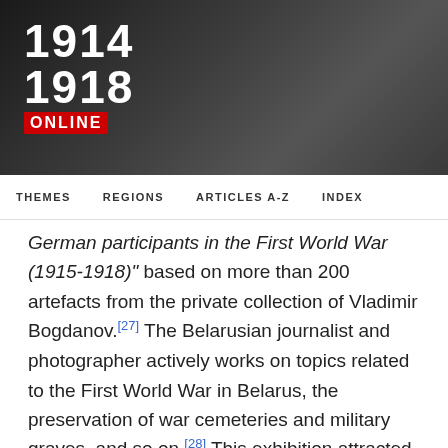[Figure (logo): 1914-1918 Online website logo with years in white bold text and red ONLINE badge on dark background]
THEMES   REGIONS   ARTICLES A-Z   INDEX
German participants in the First World War (1915-1918)" based on more than 200 artefacts from the private collection of Vladimir Bogdanov.[27] The Belarusian journalist and photographer actively works on topics related to the First World War in Belarus, the preservation of war cemeteries and military graves, and so on.[28] This exhibition attracted attention in Belarus and in Russia, as some Russian mass media reported on it.